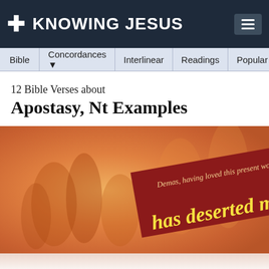KNOWING JESUS
Bible | Concordances | Interlinear | Readings | Popular | More
12 Bible Verses about
Apostasy, Nt Examples
[Figure (photo): An image with an orange-toned background showing blurred figures, with a dark red angled banner reading 'Demas, having loved this present world has deserted me' in gold/yellow text.]